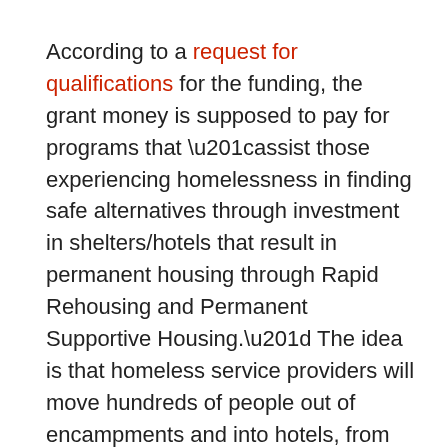According to a request for qualifications for the funding, the grant money is supposed to pay for programs that “assist those experiencing homelessness in finding safe alternatives through investment in shelters/hotels that result in permanent housing through Rapid Rehousing and Permanent Supportive Housing.” The idea is that homeless service providers will move hundreds of people out of encampments and into hotels, from which they’ll emerge on one of two tracks: Permanent supportive housing (for those who require comprehensive, 24/7 support) or market-rate apartments (for everyone else.)
The surge was also supposed to include 125 new